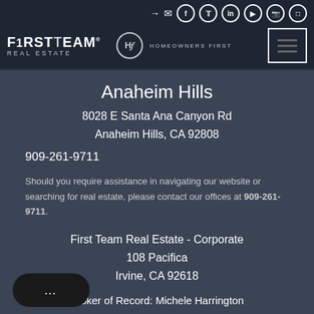FirstTeam Real Estate | Homeowners First
Anaheim Hills
8028 E Santa Ana Canyon Rd
Anaheim Hills, CA 92808
909-261-9711
Should you require assistance in navigating our website or searching for real estate, please contact our offices at 909-261-9711.
First Team Real Estate - Corporate
108 Pacifica
Irvine, CA 92618
Broker of Record: Michele Harrington